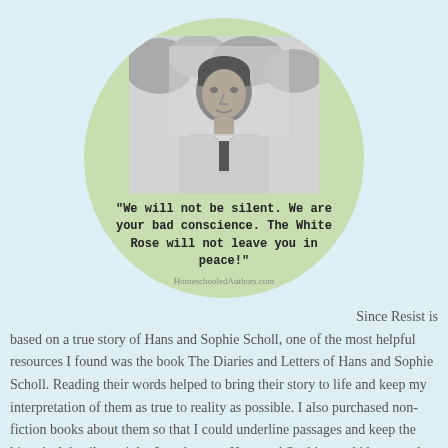[Figure (photo): Circular composition with light green crumpled paper background. Contains a black-and-white photo of a young man (Hans Scholl) at the top, with a quote below in bold monospace text: '"We will not be silent. We are your bad conscience. The White Rose will not leave you in peace!"' and watermark 'HomeschooledAuthors.com' at the bottom of the circle.]
Since Resist is based on a true story of Hans and Sophie Scholl, one of the most helpful resources I found was the book The Diaries and Letters of Hans and Sophie Scholl. Reading their words helped to bring their story to life and keep my interpretation of them as true to reality as possible. I also purchased non-fiction books about them so that I could underline passages and keep the historical details straight. I read poetry Hans and Sophie would have read, drawing on their love of the